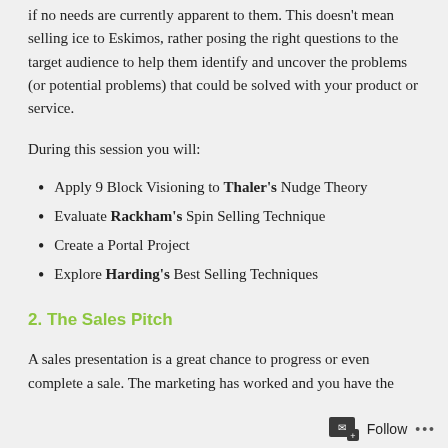if no needs are currently apparent to them. This doesn't mean selling ice to Eskimos, rather posing the right questions to the target audience to help them identify and uncover the problems (or potential problems) that could be solved with your product or service.
During this session you will:
Apply 9 Block Visioning to Thaler's Nudge Theory
Evaluate Rackham's Spin Selling Technique
Create a Portal Project
Explore Harding's Best Selling Techniques
2. The Sales Pitch
A sales presentation is a great chance to progress or even complete a sale. The marketing has worked and you have the